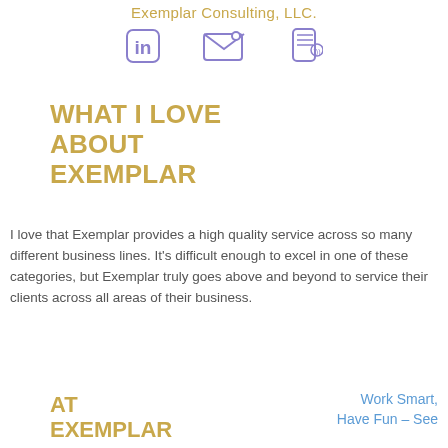Exemplar Consulting, LLC.
[Figure (illustration): Three icons: LinkedIn logo, email/envelope icon, and phone/contact icon, arranged horizontally]
WHAT I LOVE ABOUT EXEMPLAR
I love that Exemplar provides a high quality service across so many different business lines. It's difficult enough to excel in one of these categories, but Exemplar truly goes above and beyond to service their clients across all areas of their business.
AT EXEMPLAR
Work Smart, Have Fun – See